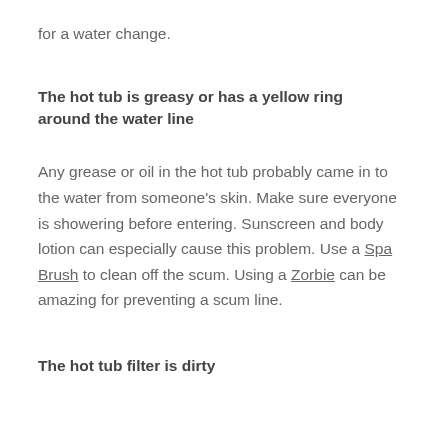for a water change.
The hot tub is greasy or has a yellow ring around the water line
Any grease or oil in the hot tub probably came in to the water from someone's skin. Make sure everyone is showering before entering. Sunscreen and body lotion can especially cause this problem. Use a Spa Brush to clean off the scum. Using a Zorbie can be amazing for preventing a scum line.
The hot tub filter is dirty